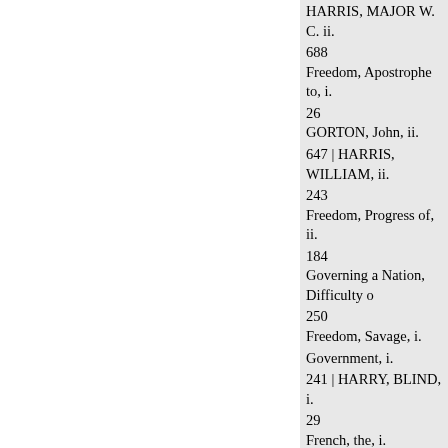HARRIS, MAJOR W. C. ii.
688
Freedom, Apostrophe to, i.
26
GORTON, John, ii.
647 | HARRIS, WILLIAM, ii.
243
Freedom, Progress of, ii.
184
Governing a Nation, Difficulty o
250
Freedom, Savage, i.
Government, i.
241 | HARRY, BLIND, i.
29
French, the, i.
281 Government and Liberty, i.
French Army in Russia, ii.
406 Harvey, William, on the Dea
448 GOWER, John, i.